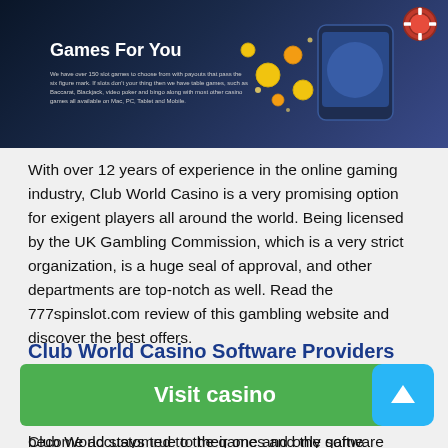[Figure (screenshot): Dark blue casino banner with title 'Games For You', small descriptive text, glowing coins and phone graphic, and a red poker chip icon in top right corner.]
With over 12 years of experience in the online gaming industry, Club World Casino is a very promising option for exigent players all around the world. Being licensed by the UK Gambling Commission, which is a very strict organization, is a huge seal of approval, and other departments are top-notch as well. Read the 777spinslot.com review of this gambling website and discover the best offers.
Club World Casino Software Providers
While most of the modern online casinos try to combine as many software providers as possible under their roof, Club World stays true to their one and only game provider, Real Time Gaming. This
become accustomed to the games and the software itself, and a